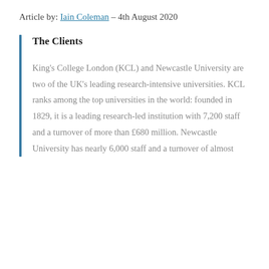Article by: Iain Coleman – 4th August 2020
The Clients
King's College London (KCL) and Newcastle University are two of the UK's leading research-intensive universities. KCL ranks among the top universities in the world: founded in 1829, it is a leading research-led institution with 7,200 staff and a turnover of more than £680 million. Newcastle University has nearly 6,000 staff and a turnover of almost